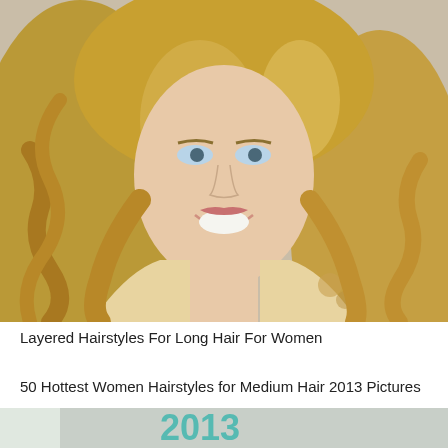[Figure (photo): Portrait photo of a smiling young woman with long, wavy golden-blonde hair, blue eyes, wearing a floral top, photographed against a beige/tan background.]
Layered Hairstyles For Long Hair For Women
50 Hottest Women Hairstyles for Medium Hair 2013 Pictures
[Figure (photo): Partial view of a second photo at bottom of page, appears to show a stylized graphic with teal/green colors and partial text.]